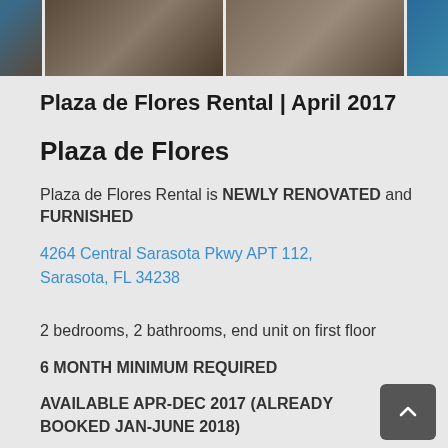[Figure (photo): Strip of 4 property photos showing exterior, dining area, hallway/kitchen, and pool area]
Plaza de Flores Rental | April 2017
Plaza de Flores
Plaza de Flores Rental is NEWLY RENOVATED and FURNISHED
4264 Central Sarasota Pkwy APT 112, Sarasota, FL 34238
2 bedrooms, 2 bathrooms, end unit on first floor
6 MONTH MINIMUM REQUIRED
AVAILABLE APR-DEC 2017 (ALREADY BOOKED JAN-JUNE 2018)